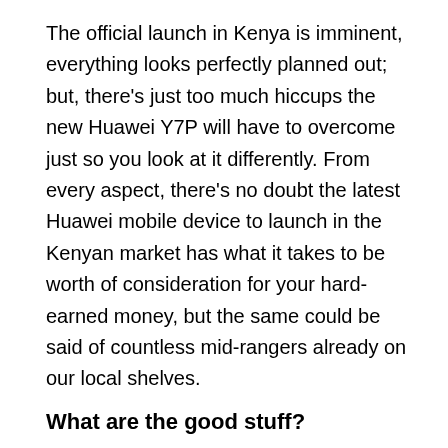The official launch in Kenya is imminent, everything looks perfectly planned out; but, there's just too much hiccups the new Huawei Y7P will have to overcome just so you look at it differently. From every aspect, there's no doubt the latest Huawei mobile device to launch in the Kenyan market has what it takes to be worth of consideration for your hard-earned money, but the same could be said of countless mid-rangers already on our local shelves.
What are the good stuff?
The Chinese manufacturer has branded the Y7P as a device that will change the market dynamics, and by all means this should be the case, however other factors may come into play and steal the show even before it starts. It's definitely a little step a head from the competition.